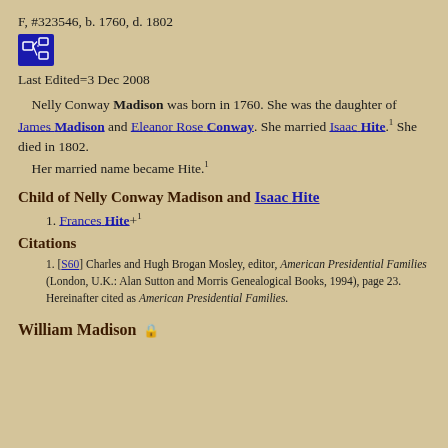F, #323546, b. 1760, d. 1802
[Figure (other): Blue icon button with family tree/pedigree chart symbol]
Last Edited=3 Dec 2008
Nelly Conway Madison was born in 1760. She was the daughter of James Madison and Eleanor Rose Conway. She married Isaac Hite.1 She died in 1802.
 Her married name became Hite.1
Child of Nelly Conway Madison and Isaac Hite
1. Frances Hite+1
Citations
1. [S60] Charles and Hugh Brogan Mosley, editor, American Presidential Families (London, U.K.: Alan Sutton and Morris Genealogical Books, 1994), page 23. Hereinafter cited as American Presidential Families.
William Madison